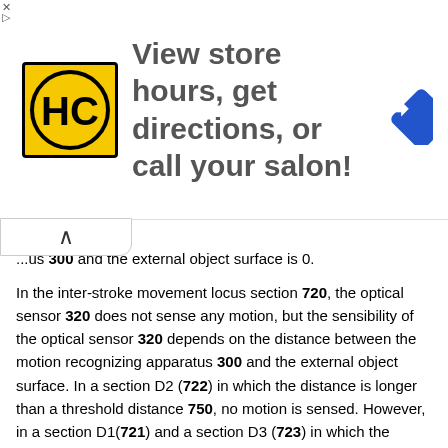[Figure (infographic): Advertisement banner: HC salon logo (yellow square with HC letters), text 'View store hours, get directions, or call your salon!', and a blue navigation diamond icon. Close (X) and arrow controls on left.]
...us 300 and the external object surface is 0.
In the inter-stroke movement locus section 720, the optical sensor 320 does not sense any motion, but the sensibility of the optical sensor 320 depends on the distance between the motion recognizing apparatus 300 and the external object surface. In a section D2 (722) in which the distance is longer than a threshold distance 750, no motion is sensed. However, in a section D1(721) and a section D3 (723) in which the distance is shorter than the threshold distance 750, the optical sensor 320 can sense a little motion.
When an incomplete motion of the optical sensor 320 in the inter-stroke movement locus section 720 is input to form the character shown in FIG. 6, an incomplete character shown in FIG. 8 is formed.
That is, when an incomplete inter-stroke movement from the point b to the point a is performed, a start point of a second stroke is mapped to a point a1 (810), not the point a, and a start point of a third stroke is mapped to a point c1 (820), not the point c.
Therefore, it is preferable to calculate a locus using the motion sensed by